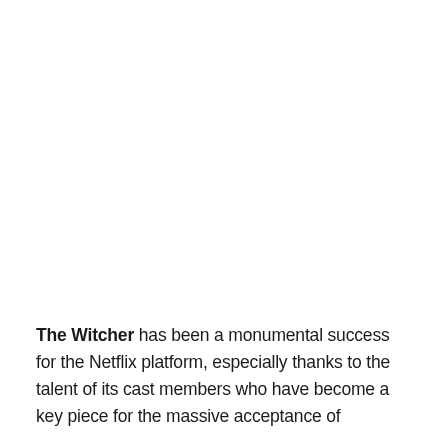The Witcher has been a monumental success for the Netflix platform, especially thanks to the talent of its cast members who have become a key piece for the massive acceptance of